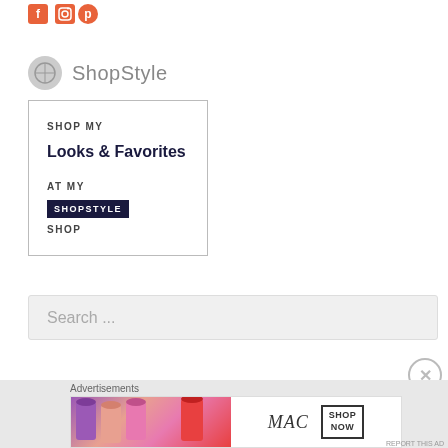[Figure (logo): Social media icons: Facebook, Instagram, Pinterest in orange/salmon color]
ShopStyle
[Figure (infographic): ShopStyle widget box with text: SHOP MY / Looks & Favorites / AT MY / SHOPSTYLE / SHOP]
[Figure (screenshot): Search bar with placeholder text 'Search ...']
Advertisements
[Figure (photo): MAC cosmetics advertisement banner showing lipsticks in purple, peach, pink, red colors with MAC logo and SHOP NOW button]